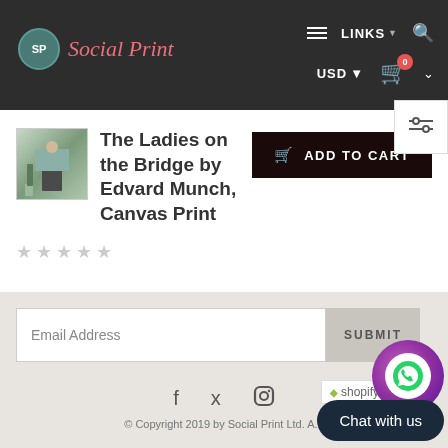[Figure (screenshot): Social Print website header with dark background, logo on left, navigation links and cart on right]
The Ladies on the Bridge by Edvard Munch, Canvas Print
[Figure (photo): Small product thumbnail image of the canvas print]
ADD TO CART button
[Figure (other): Five empty star rating icons]
Email Address
SUBMIT
f  Twitter  Instagram social icons
© Copyright 2019 by Social Print Ltd. A...
[Figure (other): WhatsApp chat bubble icon]
Chat with us